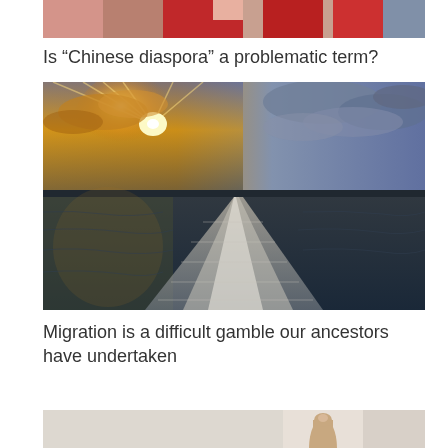[Figure (photo): Partial top of a photo showing people in red, cropped at top of page]
Is “Chinese diaspora” a problematic term?
[Figure (photo): Ocean seascape photo showing the wake of a ship with dramatic golden sunset sky and clouds]
Migration is a difficult gamble our ancestors have undertaken
[Figure (photo): Partial bottom of a photo showing a finger pointing upward, cropped at bottom of page]